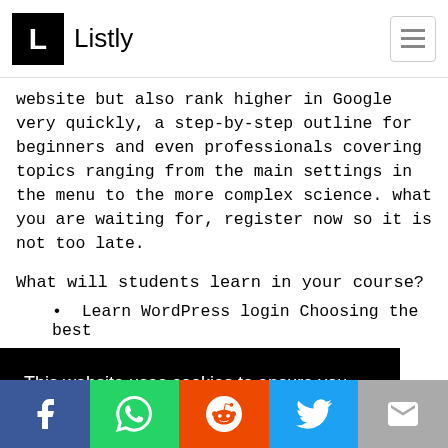Listly
website but also rank higher in Google very quickly, a step-by-step outline for beginners and even professionals covering topics ranging from the main settings in the menu to the more complex science. what you are waiting for, register now so it is not too late.
What will students learn in your course?
Learn WordPress login Choosing the best...
This website uses cookies to ensure you get the best experience on our website.
Learn more
Got it!